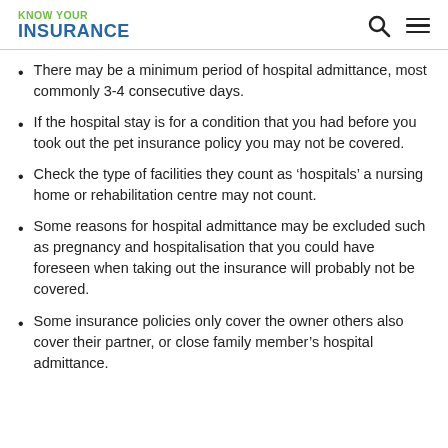KNOW YOUR INSURANCE
There may be a minimum period of hospital admittance, most commonly 3-4 consecutive days.
If the hospital stay is for a condition that you had before you took out the pet insurance policy you may not be covered.
Check the type of facilities they count as ‘hospitals’ a nursing home or rehabilitation centre may not count.
Some reasons for hospital admittance may be excluded such as pregnancy and hospitalisation that you could have foreseen when taking out the insurance will probably not be covered.
Some insurance policies only cover the owner others also cover their partner, or close family member’s hospital admittance.